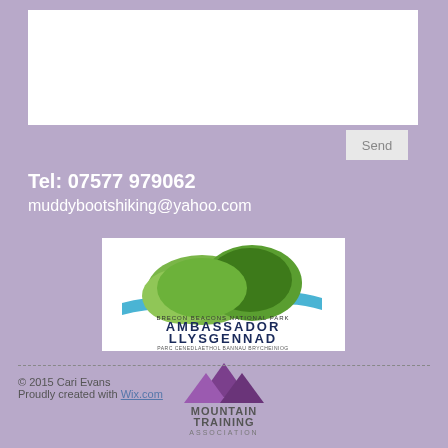[Figure (other): White text input/message area box]
Send
Tel: 07577 979062
muddybootshiking@yahoo.com
[Figure (logo): Brecon Beacons National Park Ambassador Llysgennad logo with green hills and blue wave]
[Figure (logo): Mountain Training Association logo with purple mountain peaks]
© 2015 Cari Evans
Proudly created with Wix.com